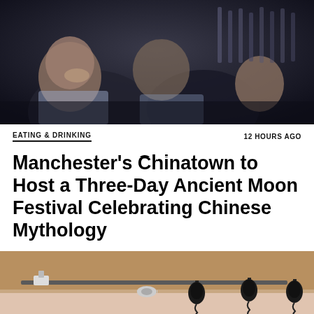[Figure (photo): Dark indoor scene showing people sitting at a table, blurred background with bottles or items visible, nighttime or low-light setting]
EATING & DRINKING
12 HOURS AGO
Manchester's Chinatown to Host a Three-Day Ancient Moon Festival Celebrating Chinese Mythology
[Figure (photo): Interior of a building with hanging black microphone stands on coiled cables, beige/brown walls, ceiling fixtures, and green plant leaves visible at bottom left. A close button (X) overlay visible at bottom right.]